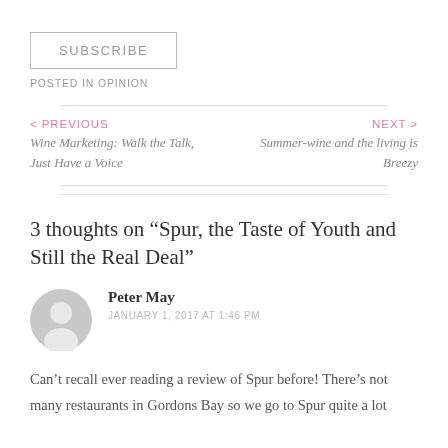SUBSCRIBE
POSTED IN OPINION
< PREVIOUS
Wine Marketing: Walk the Talk, Just Have a Voice
NEXT >
Summer-wine and the living is Breezy
3 thoughts on “Spur, the Taste of Youth and Still the Real Deal”
Peter May
JANUARY 1, 2017 AT 1:46 PM
Can’t recall ever reading a review of Spur before! There’s not many restaurants in Gordons Bay so we go to Spur quite a lot